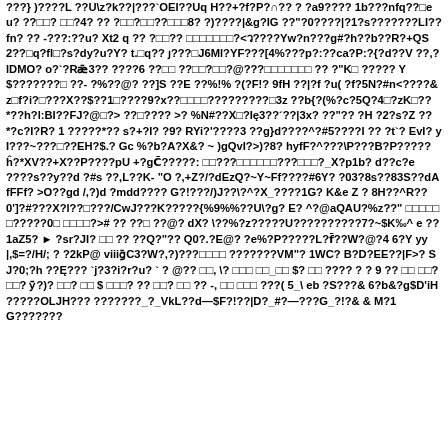???} )????L ??U\z?k??|???`OEI??Uq H??+?f?P?∩?? ? ?a9???? 1b???nfq??□eu? ??□□? □□?4? ?? ?□□?□□??□□□8? ?)????|&g?IG ??"?0????|?1?s???????LI??fn? ?? -???:??u? Xt2 q ?? ?□□?? □□□□□□□?<ว????Yw?n???g#?h??b??R?+QS2??□q?fI□?s?dy?u?Y? t.□q?? ȷ???□J6Ml?YF???[4%???p?:??ca?P:?{?d??V ??,?lDMO? o?`?Rǣ3?? ????6 ??□□ ??□□?□□?@???□□□□□□□ ?? ?"K□ ????? Y$???????□ ??- ?%??@? ??]S ??E ??%!% ?(?F!? 9fH ??|?f ?u( ?f?5N?#n<????&z□f?i?□???X??$??1□????9?x??□□□□?????????□3z ??b{?(%?c?5Q?4□?zK□??*??h?l:BI??FJ?@□?> ??□???? >? %N#??X□?I€3??´??|3x? ??"?? ?H ?2?s?Z ??*?c?I?R? 1 ?????*?? s?+?I? ?9? RYi?'????3 ??g}d????^?#5????I ?? ?t`? EvI? yI???~???□??EH?$.? Gc %?b?A?X&? ~ )gQvI?>)?8? hyfF?^???\P???B?P?????ĥ?*XV??+X??P????pU +?gC̄?????:  □□???□□□□□□???□□□?_X?p1b? d??c?e ????s??y??d ?#s ??,L??K- "O ?,+Z?/?dEzQ?~Y~Ff????#6Y? ?03?8s??83S??dAfFFf? >O??gd /,?)d ?mdd???? G?!???/)J??\?^?X_????1G? K&e Z ? 8H??^R??0']?#???X?l??□???/CwJ???K?????{%9%%??U\?g? E? ^?@aQAU?%z??" □□□□□□?????0□ □□□□?># ?? ??□ ??@? dX? \??%?z?????U??????????7?~$K‰^ e ??1aZ5? ► ?sr?JI? □□ ?? ??Q?"?? Q0?.?E@? ?e%?P?????L?f̄??W?@?4 6?Y yy |,$=?/H/; ? ?2kP@ viiiḡC3?W?,?)???□□□□ ???????VM"? 1WC? B?D?EE??|F?>? SJ?0;?h ??Ę??? `j?3?i?r?u? ` ? @?? □□, \? □□□ □□_□□ $? □□ ???? ? ? 9 ?? □□ □□? □□? ȳ?)? □□? □□ $ □□□? ?? □□? □□ ?? -, □□ □□□ ???( 5_\ eb ?S???& 6?b&?g$D'iH ?????OLJH??? ???????_?_VkL??d—$F?!??|D?_#?—???G_?!?& & M?1G???????